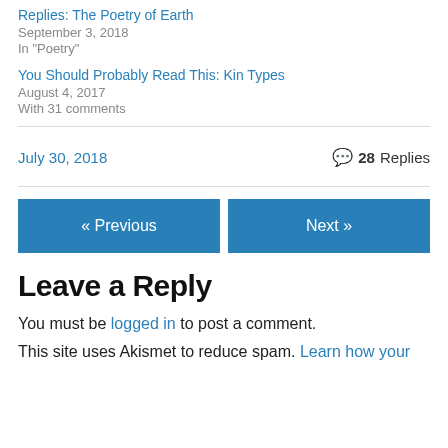Replies: The Poetry of Earth
September 3, 2018
In "Poetry"
You Should Probably Read This: Kin Types
August 4, 2017
With 31 comments
July 30, 2018   💬 28 Replies
« Previous   Next »
Leave a Reply
You must be logged in to post a comment.
This site uses Akismet to reduce spam. Learn how your